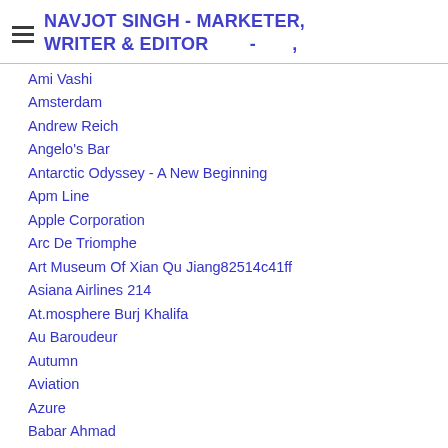NAVJOT SINGH - MARKETER, WRITER & EDITOR - ,
Ami Vashi
Amsterdam
Andrew Reich
Angelo's Bar
Antarctic Odyssey - A New Beginning
Apm Line
Apple Corporation
Arc De Triomphe
Art Museum Of Xian Qu Jiang82514c41ff
Asiana Airlines 214
At.mosphere Burj Khalifa
Au Baroudeur
Autumn
Aviation
Azure
Babar Ahmad
Baby Milk